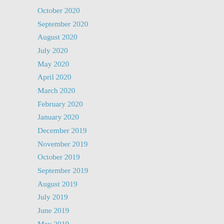October 2020
September 2020
August 2020
July 2020
May 2020
April 2020
March 2020
February 2020
January 2020
December 2019
November 2019
October 2019
September 2019
August 2019
July 2019
June 2019
May 2019
April 2019
March 2019
February 2019